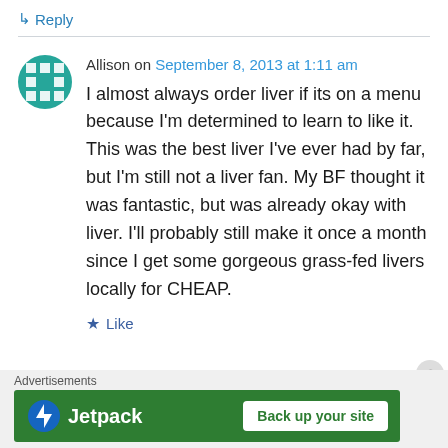↳ Reply
Allison on September 8, 2013 at 1:11 am
I almost always order liver if its on a menu because I'm determined to learn to like it. This was the best liver I've ever had by far, but I'm still not a liver fan. My BF thought it was fantastic, but was already okay with liver. I'll probably still make it once a month since I get some gorgeous grass-fed livers locally for CHEAP.
★ Like
Advertisements
[Figure (other): Jetpack advertisement banner with Back up your site button]